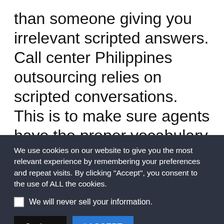than someone giving you irrelevant scripted answers.

Call center Philippines outsourcing relies on scripted conversations. This is to make sure agents have the proper vocabulary and knowledge to answer customers. But we also
We use cookies on our website to give you the most relevant experience by remembering your preferences and repeat visits. By clicking “Accept”, you consent to the use of ALL the cookies.
We will never sell your information.
Settings
I ACCEPT
Leave a message